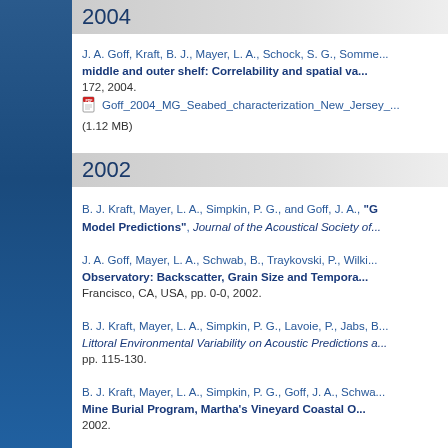2004
J. A. Goff, Kraft, B. J., Mayer, L. A., Schock, S. G., Somme... middle and outer shelf: Correlability and spatial va... 172, 2004.
Goff_2004_MG_Seabed_characterization_New_Jersey_... (1.12 MB)
2002
B. J. Kraft, Mayer, L. A., Simpkin, P. G., and Goff, J. A., "G... Model Predictions", Journal of the Acoustical Society of...
J. A. Goff, Mayer, L. A., Schwab, B., Traykovski, P., Wilki... Observatory: Backscatter, Grain Size and Tempora... Francisco, CA, USA, pp. 0-0, 2002.
B. J. Kraft, Mayer, L. A., Simpkin, P. G., Lavoie, P., Jabs, B... Littoral Environmental Variability on Acoustic Predictions a... pp. 115-130.
B. J. Kraft, Mayer, L. A., Simpkin, P. G., Goff, J. A., Schwa... Mine Burial Program, Martha's Vineyard Coastal O... 2002.